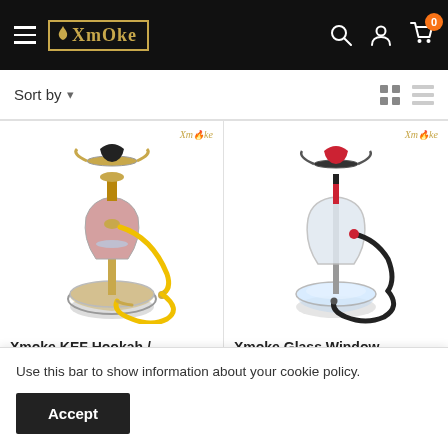Xmoke — navigation header with hamburger menu, logo, search, account, and cart icons
Sort by ▾
[Figure (photo): Xmoke KEF Hookah with yellow hose on ornate silver base, Xmoke watermark top right]
[Figure (photo): Xmoke Glass Window hookah with black hose on clear glass base, Xmoke watermark top right]
Xmoke KEF Hookah /
Xmoke Glass Window
Use this bar to show information about your cookie policy.
Accept
₹ 2,799
₹ 3,999